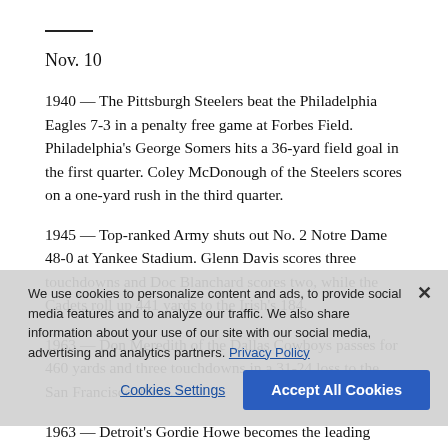Nov. 10
1940 — The Pittsburgh Steelers beat the Philadelphia Eagles 7-3 in a penalty free game at Forbes Field. Philadelphia's George Somers hits a 36-yard field goal in the first quarter. Coley McDonough of the Steelers scores on a one-yard rush in the third quarter.
1945 — Top-ranked Army shuts out No. 2 Notre Dame 48-0 at Yankee Stadium. Glenn Davis scores three touchdowns and Doc Blanchard scores two, while the Cadets roll up 441 yards to the Irish's 184.
1963 — Don Meredith of the Dallas Cowboys passes for 460 yards and three touchdowns in a 31-24 loss to the San Francisco 49ers.
1963 — Detroit's Gordie Howe becomes the leading career goal scorer in the NHL with his 545th in a 3-0